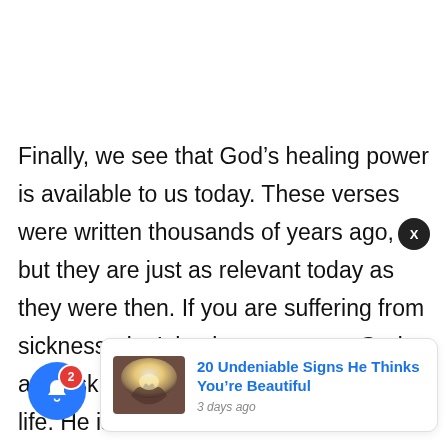Finally, we see that God’s healing power is available to us today. These verses were written thousands of years ago, but they are just as relevant today as they were then. If you are suffering from sickness, don’t hesitate to turn to God and ask for His healing power in your life. He is still the ultimate Healer and desires to s…
[Figure (screenshot): Notification popup card with image thumbnail showing hands in light, title '20 Undeniable Signs He Thinks You’re Beautiful', dated '3 days ago'. A close (X) button in a black circle appears top-right of the card. A blue notification bell with red badge showing '2' is at the bottom-left.]